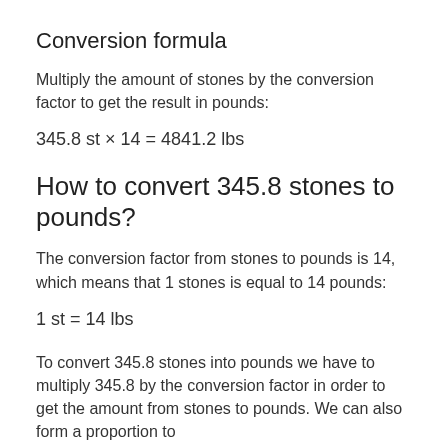Conversion formula
Multiply the amount of stones by the conversion factor to get the result in pounds:
How to convert 345.8 stones to pounds?
The conversion factor from stones to pounds is 14, which means that 1 stones is equal to 14 pounds:
To convert 345.8 stones into pounds we have to multiply 345.8 by the conversion factor in order to get the amount from stones to pounds. We can also form a proportion to